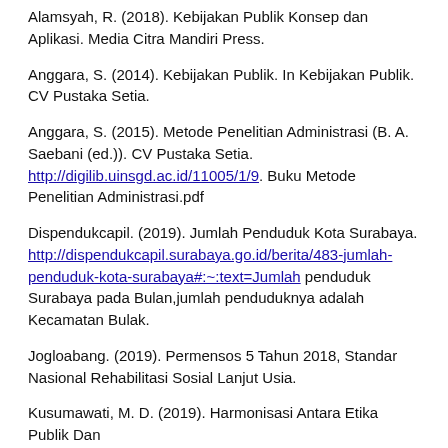Alamsyah, R. (2018). Kebijakan Publik Konsep dan Aplikasi. Media Citra Mandiri Press.
Anggara, S. (2014). Kebijakan Publik. In Kebijakan Publik. CV Pustaka Setia.
Anggara, S. (2015). Metode Penelitian Administrasi (B. A. Saebani (ed.)). CV Pustaka Setia. http://digilib.uinsgd.ac.id/11005/1/9. Buku Metode Penelitian Administrasi.pdf
Dispendukcapil. (2019). Jumlah Penduduk Kota Surabaya. http://dispendukcapil.surabaya.go.id/berita/483-jumlah-penduduk-kota-surabaya#:~:text=Jumlah penduduk Surabaya pada Bulan,jumlah penduduknya adalah Kecamatan Bulak.
Jogloabang. (2019). Permensos 5 Tahun 2018, Standar Nasional Rehabilitasi Sosial Lanjut Usia.
Kusumawati, M. D. (2019). Harmonisasi Antara Etika Publik Dan